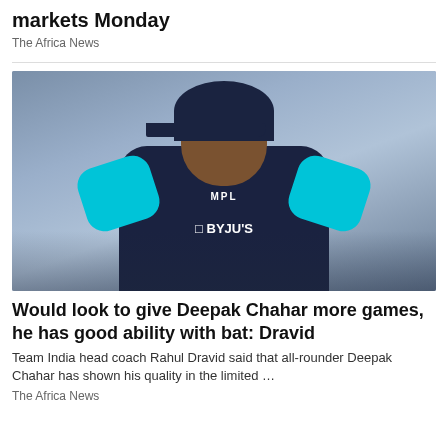markets Monday
The Africa News
[Figure (photo): Photo of Rahul Dravid, Team India head coach, smiling and wearing a dark navy India cricket training jersey with MPL and BYJU'S logos, and a navy cap.]
Would look to give Deepak Chahar more games, he has good ability with bat: Dravid
Team India head coach Rahul Dravid said that all-rounder Deepak Chahar has shown his quality in the limited …
The Africa News